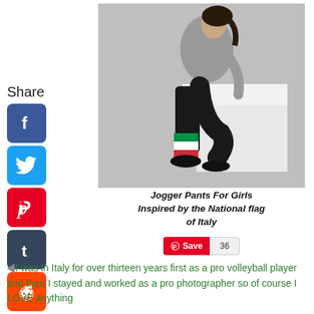Share
[Figure (other): Social media share icons: Facebook, Twitter, Pinterest, Tumblr, Reddit, WhatsApp]
[Figure (photo): Woman wearing black jogger pants with Italian flag colors (green, white, red) at the bottom, sitting on a white cube, wearing a grey sweatshirt and black sneakers, against a grey background]
Jogger Pants For Girls Inspired by the National flag of Italy
[Figure (other): Pinterest Save button with count 36]
I was in Italy for over thirteen years first as a pro volleyball player and then I stayed and worked as a pro photographer so of course I LOVE anything